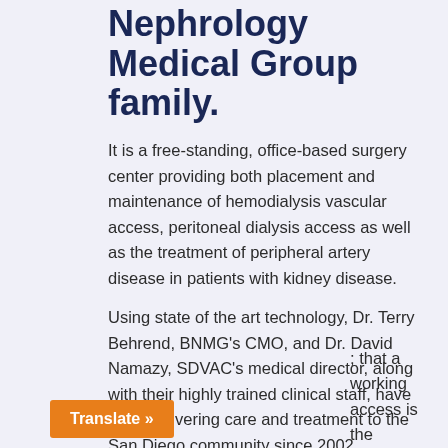Nephrology Medical Group family.
It is a free-standing, office-based surgery center providing both placement and maintenance of hemodialysis vascular access, peritoneal dialysis access as well as the treatment of peripheral artery disease in patients with kidney disease.
Using state of the art technology, Dr. Terry Behrend, BNMG's CMO, and Dr. David Namazy, SDVAC's medical director, along with their highly trained clinical staff, have been delivering care and treatment to the San Diego community since 2002.
; that a working access is the